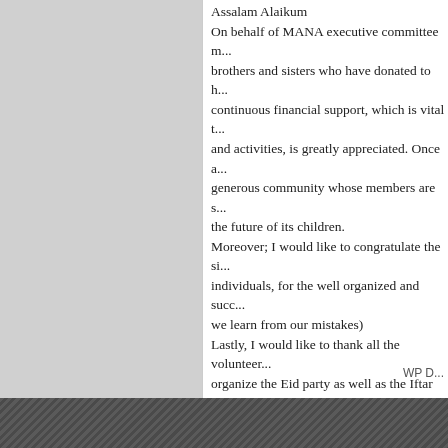Assalam Alaikum
On behalf of MANA executive committee m... brothers and sisters who have donated to h... continuous financial support, which is vital t... and activities, is greatly appreciated. Once a... generous community whose members are s... the future of its children.
Moreover; I would like to congratulate the si... individuals, for the well organized and succ... we learn from our mistakes)
Lastly, I would like to thank all the volunteer... organize the Eid party as well as the Iftar of... Again, thank you and may Allah swt reward...
Sincerely,
Hafid Bouaouinate
MANA President
Rate this:
[Figure (other): Five empty star rating icons followed by an info icon and 'Rate This' text]
Filed under: Message from the Board | Leave a...
WP D...